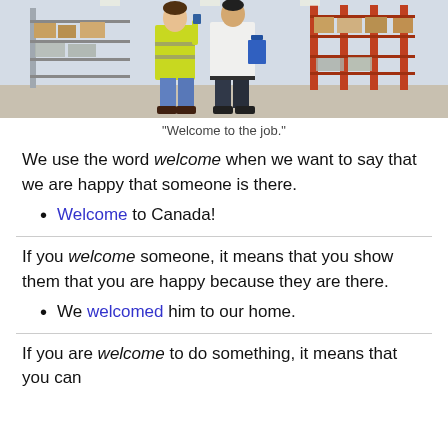[Figure (photo): Two people in a warehouse — one wearing a yellow safety vest and one in a white shirt holding a blue clipboard — standing among shelving racks with boxes and wrapped pallets.]
"Welcome to the job."
We use the word welcome when we want to say that we are happy that someone is there.
Welcome to Canada!
If you welcome someone, it means that you show them that you are happy because they are there.
We welcomed him to our home.
If you are welcome to do something, it means that you can